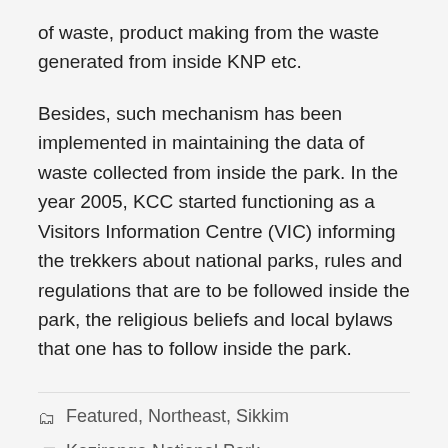of waste, product making from the waste generated from inside KNP etc.
Besides, such mechanism has been implemented in maintaining the data of waste collected from inside the park. In the year 2005, KCC started functioning as a Visitors Information Centre (VIC) informing the trekkers about national parks, rules and regulations that are to be followed inside the park, the religious beliefs and local bylaws that one has to follow inside the park.
Featured, Northeast, Sikkim
Kaziranga National Park, Khangchendzonga Conservation Committee (KCC), Life Saving